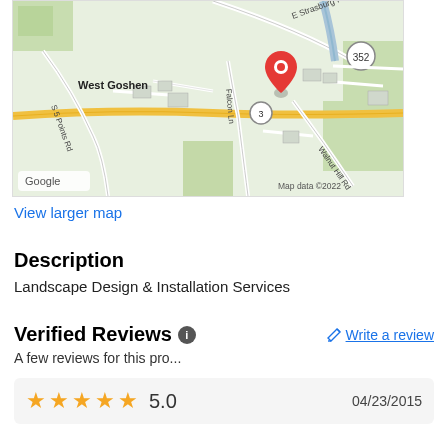[Figure (map): Google Map showing West Goshen area with a red location pin near Falcon Ln and E Strasburg Rd, with roads including S 5 Points Rd, Walnut Hill Rd, and route 352 visible. Map data ©2022.]
View larger map
Description
Landscape Design & Installation Services
Verified Reviews
Write a review
A few reviews for this pro...
5.0   04/23/2015